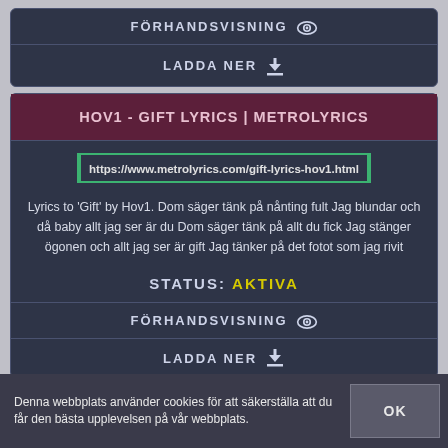FÖRHANDSVISNING
LADDA NER
HOV1 - GIFT LYRICS | METROLYRICS
https://www.metrolyrics.com/gift-lyrics-hov1.html
Lyrics to 'Gift' by Hov1. Dom säger tänk på nånting fult Jag blundar och då baby allt jag ser är du Dom säger tänk på allt du fick Jag stänger ögonen och allt jag ser är gift Jag tänker på det fotot som jag rivit
STATUS: AKTIVA
FÖRHANDSVISNING
LADDA NER
Denna webbplats använder cookies för att säkerställa att du får den bästa upplevelsen på vår webbplats.